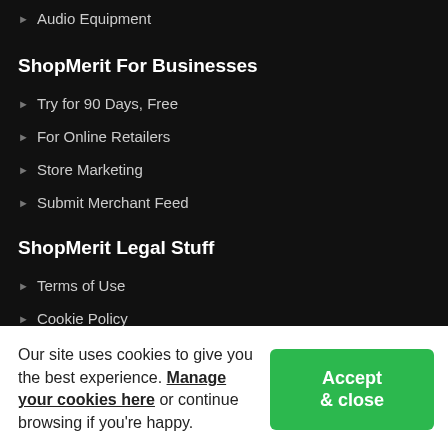Audio Equipment
ShopMerit For Businesses
Try for 90 Days, Free
For Online Retailers
Store Marketing
Submit Merchant Feed
ShopMerit Legal Stuff
Terms of Use
Cookie Policy
Privacy Policy
Cookie Settings
Our site uses cookies to give you the best experience. Manage your cookies here or continue browsing if you're happy.